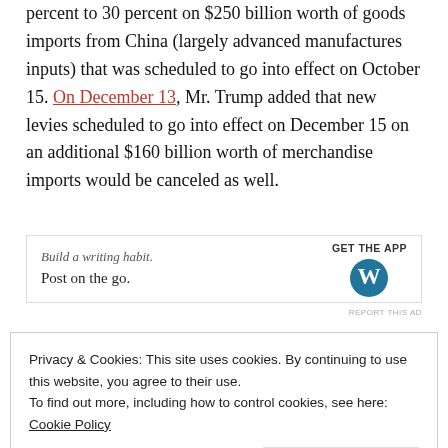percent to 30 percent on $250 billion worth of goods imports from China (largely advanced manufactures inputs) that was scheduled to go into effect on October 15. On December 13, Mr. Trump added that new levies scheduled to go into effect on December 15 on an additional $160 billion worth of merchandise imports would be canceled as well.
[Figure (screenshot): Advertisement banner for WordPress app: 'Build a writing habit. Post on the go.' with GET THE APP button and WordPress logo]
In a press according to the President. Political...
Privacy & Cookies: This site uses cookies. By continuing to use this website, you agree to their use. To find out more, including how to control cookies, see here: Cookie Policy